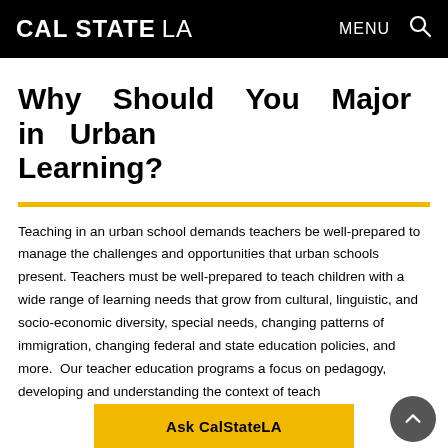CAL STATE LA   MENU
Why Should You Major in Urban Learning?
Teaching in an urban school demands teachers be well-prepared to manage the challenges and opportunities that urban schools present. Teachers must be well-prepared to teach children with a wide range of learning needs that grow from cultural, linguistic, and socio-economic diversity, special needs, changing patterns of immigration, changing federal and state education policies, and more.  Our teacher education programs a focus on pedagogy, developing and understanding the context of teach